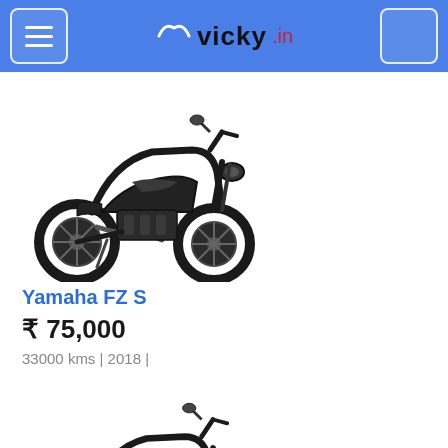vicky.in
[Figure (photo): Black Yamaha FZ S motorcycle, side-angled view]
Yamaha FZ S
₹ 75,000
33000 kms | 2018 |
[Figure (photo): Black Yamaha FZ S motorcycle, second listing, side-angled view]